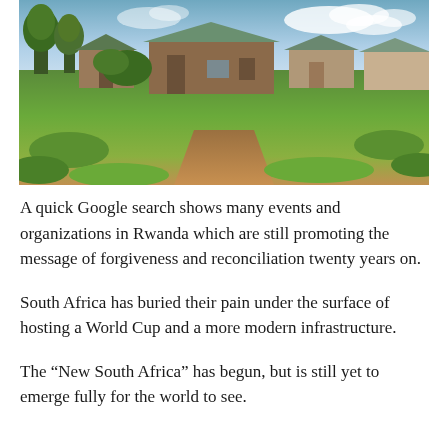[Figure (photo): Photograph of a rural scene in Rwanda showing modest brick houses with metal roofs, green grass, dirt paths, trees, and a partly cloudy sky.]
A quick Google search shows many events and organizations in Rwanda which are still promoting the message of forgiveness and reconciliation twenty years on.
South Africa has buried their pain under the surface of hosting a World Cup and a more modern infrastructure.
The “New South Africa” has begun, but is still yet to emerge fully for the world to see.